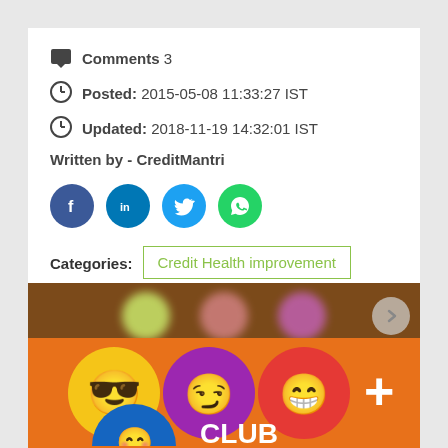Comments 3
Posted: 2015-05-08 11:33:27 IST
Updated: 2018-11-19 14:32:01 IST
Written by - CreditMantri
[Figure (infographic): Social share icons: Facebook (blue circle), LinkedIn (blue circle), Twitter (light blue circle), WhatsApp (green circle)]
Categories: Credit Health improvement
Credit Score
[Figure (photo): 800+ Club banner with emoji faces on an orange and brown background]